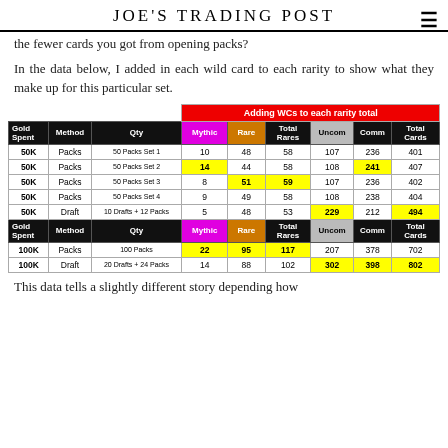JOE'S TRADING POST
the fewer cards you got from opening packs?
In the data below, I added in each wild card to each rarity to show what they make up for this particular set.
| Gold Spent | Method | Qty | Mythic | Rare | Total Rares | Uncom | Comm | Total Cards |
| --- | --- | --- | --- | --- | --- | --- | --- | --- |
| 50K | Packs | 50 Packs Set 1 | 10 | 48 | 58 | 107 | 236 | 401 |
| 50K | Packs | 50 Packs Set 2 | 14 | 44 | 58 | 108 | 241 | 407 |
| 50K | Packs | 50 Packs Set 3 | 8 | 51 | 59 | 107 | 236 | 402 |
| 50K | Packs | 50 Packs Set 4 | 9 | 49 | 58 | 108 | 238 | 404 |
| 50K | Draft | 10 Drafts + 12 Packs | 5 | 48 | 53 | 229 | 212 | 494 |
| Gold Spent | Method | Qty | Mythic | Rare | Total Rares | Uncom | Comm | Total Cards |
| 100K | Packs | 100 Packs | 22 | 95 | 117 | 207 | 378 | 702 |
| 100K | Draft | 20 Drafts + 24 Packs | 14 | 88 | 102 | 302 | 398 | 802 |
This data tells a slightly different story depending how